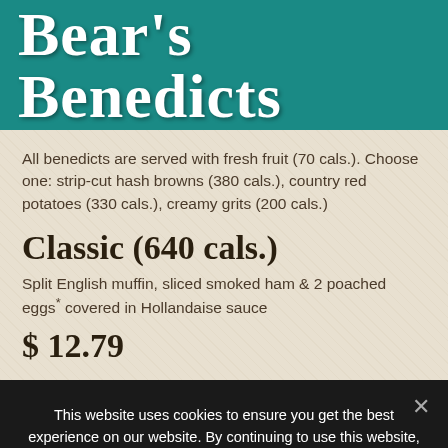Bear's Benedicts
All benedicts are served with fresh fruit (70 cals.). Choose one: strip-cut hash browns (380 cals.), country red potatoes (330 cals.), creamy grits (200 cals.)
Classic (640 cals.)
Split English muffin, sliced smoked ham & 2 poached eggs* covered in Hollandaise sauce
$ 12.79
This website uses cookies to ensure you get the best experience on our website. By continuing to use this website, you accept our Privacy Policy.